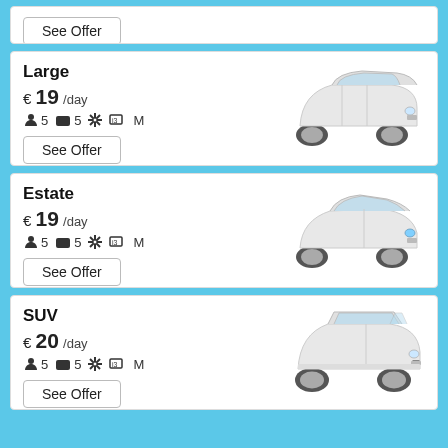[Figure (other): Partial car rental card showing 'See Offer' button at top]
Large
€ 19 /day
5 passengers  5 bags  AC  Manual (M)
[Figure (photo): White estate/wagon car (Ford Focus style) angled view]
See Offer
Estate
€ 19 /day
5 passengers  5 bags  AC  Manual (M)
[Figure (photo): White hatchback car (Ford Focus style) angled front view]
See Offer
SUV
€ 20 /day
5 passengers  5 bags  AC  Manual (M)
[Figure (photo): White SUV (Nissan Qashqai style) angled front view]
See Offer